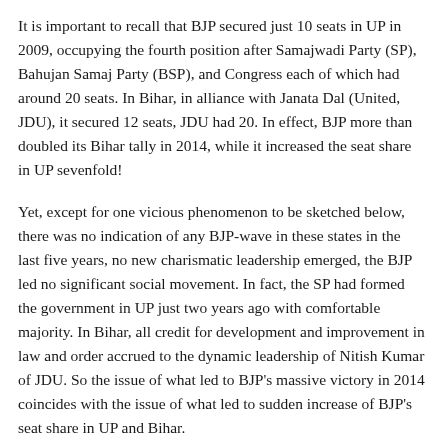It is important to recall that BJP secured just 10 seats in UP in 2009, occupying the fourth position after Samajwadi Party (SP), Bahujan Samaj Party (BSP), and Congress each of which had around 20 seats. In Bihar, in alliance with Janata Dal (United, JDU), it secured 12 seats, JDU had 20. In effect, BJP more than doubled its Bihar tally in 2014, while it increased the seat share in UP sevenfold!
Yet, except for one vicious phenomenon to be sketched below, there was no indication of any BJP-wave in these states in the last five years, no new charismatic leadership emerged, the BJP led no significant social movement. In fact, the SP had formed the government in UP just two years ago with comfortable majority. In Bihar, all credit for development and improvement in law and order accrued to the dynamic leadership of Nitish Kumar of JDU. So the issue of what led to BJP's massive victory in 2014 coincides with the issue of what led to sudden increase of BJP's seat share in UP and Bihar.